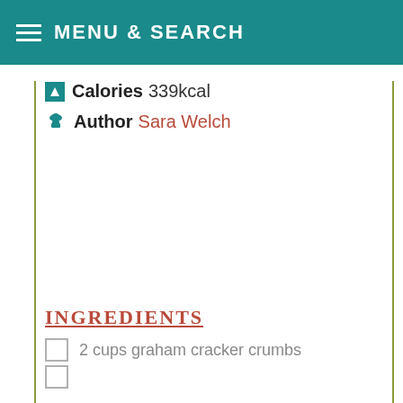MENU & SEARCH
Calories 339kcal
Author Sara Welch
INGREDIENTS
2 cups graham cracker crumbs